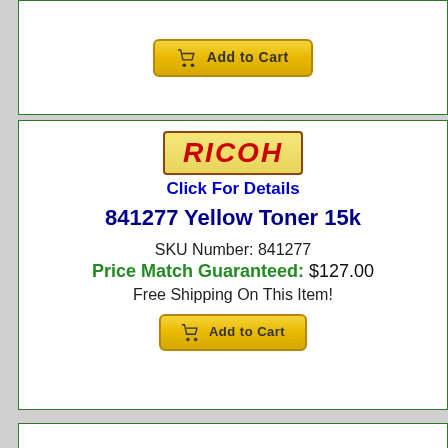[Figure (other): Add to Cart button (yellow/gold gradient) with shopping cart icon, partially visible at top]
[Figure (logo): RICOH logo in red italic text on yellow/gold gradient background with brown border]
Click For Details
841277 Yellow Toner 15k
SKU Number: 841277
Price Match Guaranteed: $127.00
Free Shipping On This Item!
[Figure (other): Add to Cart button (yellow/gold gradient) with shopping cart icon]
[Figure (photo): Red/magenta Ricoh toner cartridge on a wooden surface, partially visible at bottom of page]